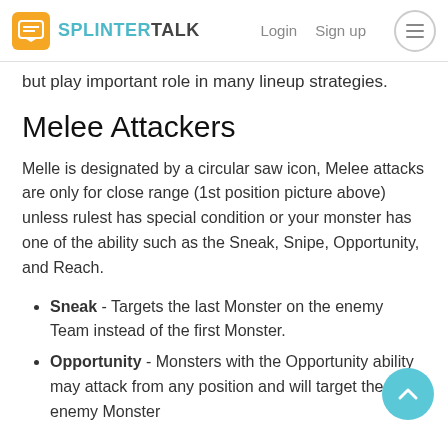SPLINTERTALK | Login  Sign up
but play important role in many lineup strategies.
Melee Attackers
Melle is designated by a circular saw icon, Melee attacks are only for close range (1st position picture above) unless rulest has special condition or your monster has one of the ability such as the Sneak, Snipe, Opportunity, and Reach.
Sneak - Targets the last Monster on the enemy Team instead of the first Monster.
Opportunity - Monsters with the Opportunity ability may attack from any position and will target the enemy Monster